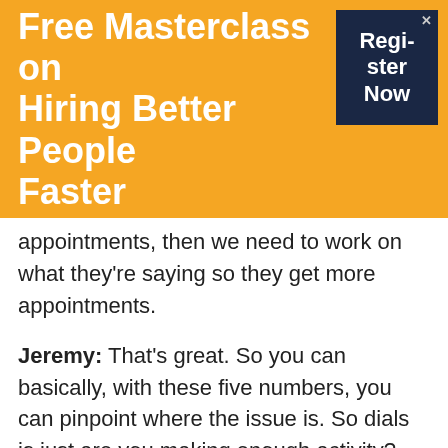[Figure (other): Orange banner with white bold title 'Free Masterclass on Hiring Better People Faster' and a dark navy 'Register Now' button on the right]
appointments, then we need to work on what they're saying so they get more appointments.
Jeremy: That's great. So you can basically, with these five numbers, you can pinpoint where the issue is. So dials is just are you making enough activity? Conversations, are you connecting? That's going to tell us what is going on in that conversation is going to determine how many appointments are scheduled, which is going to tell us whether we need to work on that, or dive